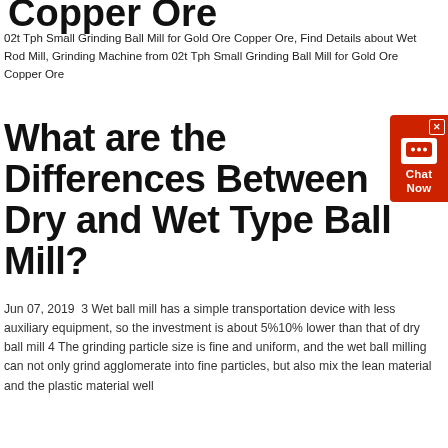Copper Ore
02t Tph Small Grinding Ball Mill for Gold Ore Copper Ore, Find Details about Wet Rod Mill, Grinding Machine from 02t Tph Small Grinding Ball Mill for Gold Ore Copper Ore
What are the Differences Between Dry and Wet Type Ball Mill?
Jun 07, 2019  3 Wet ball mill has a simple transportation device with less auxiliary equipment, so the investment is about 5%10% lower than that of dry ball mill 4 The grinding particle size is fine and uniform, and the wet ball milling can not only grind agglomerate into fine particles, but also mix the lean material and the plastic material well